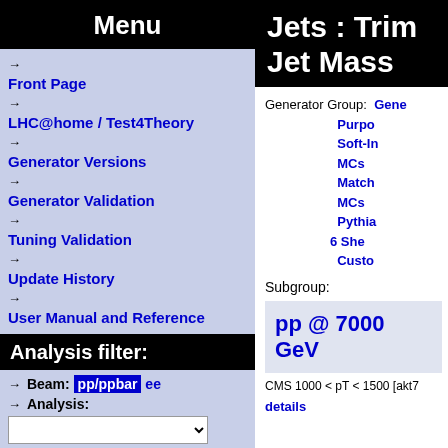Menu
Front Page
LHC@home / Test4Theory
Generator Versions
Generator Validation
Tuning Validation
Update History
User Manual and Reference
Analysis filter:
Beam: pp/ppbar ee
Analysis:
tt̅
Jet Shapes
Z (Drell-Yan)
Jets : Trimmed Jet Mass
Generator Group: General Purpose Soft-Inclusive MCs Matched MCs Pythia 6 Sherpa Custom
Subgroup:
pp @ 7000 GeV
CMS 1000 < pT < 1500 [akt7
details